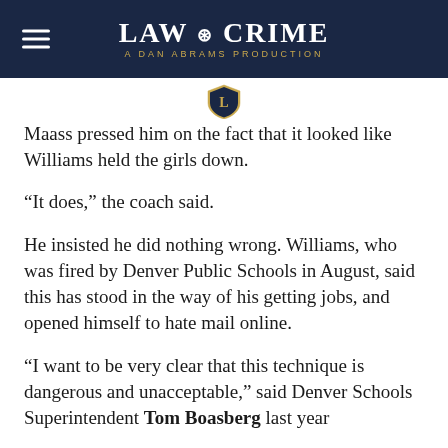LAW & CRIME — A DAN ABRAMS PRODUCTION
[Figure (logo): Law & Crime shield logo emblem in gold/navy]
Maass pressed him on the fact that it looked like Williams held the girls down.
“It does,” the coach said.
He insisted he did nothing wrong. Williams, who was fired by Denver Public Schools in August, said this has stood in the way of his getting jobs, and opened himself to hate mail online.
“I want to be very clear that this technique is dangerous and unacceptable,” said Denver Schools Superintendent Tom Boasberg last year